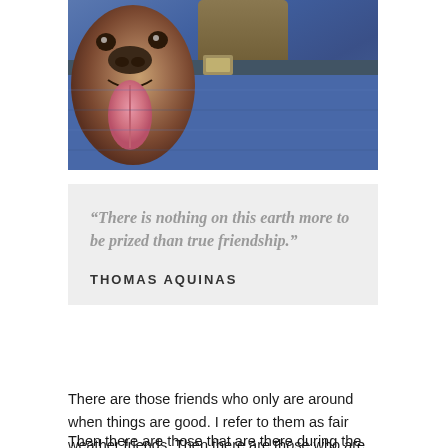[Figure (photo): Photo of a dog with mouth open and tongue out, next to denim jeans with belt]
“There is nothing on this earth more to be prized than true friendship.”

THOMAS AQUINAS
There are those friends who only are around when things are good. I refer to them as fair weather friends. Then there are those who are there to share in our windfalls and when that is gone so are they.
Then there are those that are there during the